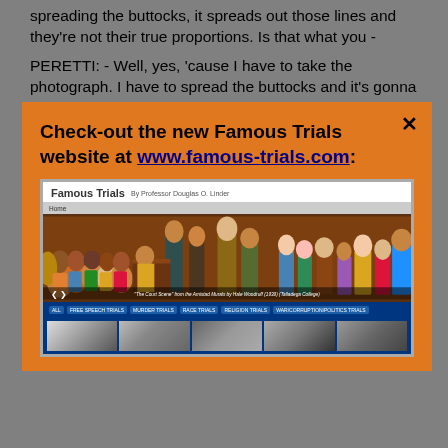spreading the buttocks, it spreads out those lines and they're not their true proportions. Is that what you -
PERETTI: - Well, yes, 'cause I have to take the photograph. I have to spread the buttocks and it's gonna - maybe distort is the wrong term - it's gonna alter it
Check-out the new Famous Trials website at www.famous-trials.com:
[Figure (screenshot): Screenshot of the Famous Trials website by Professor Douglas O. Linder, showing a colorful courtroom mural as hero image, navigation categories (ALL, FREE SPEECH TRIALS, MURDER TRIALS, RACE TRIALS, RELIGION TRIALS, WAR/CORRUPTION/POLITICS TRIALS), and thumbnail images of famous trial subjects.]